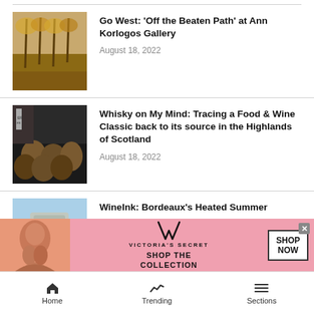Go West: 'Off the Beaten Path' at Ann Korlogos Gallery — August 18, 2022
Whisky on My Mind: Tracing a Food & Wine Classic back to its source in the Highlands of Scotland — August 18, 2022
WineInk: Bordeaux's Heated Summer — August 18, 2022
[Figure (screenshot): Victoria's Secret advertisement banner with model photo, VS logo, 'Shop the Collection' text, and Shop Now button]
Home   Trending   Sections